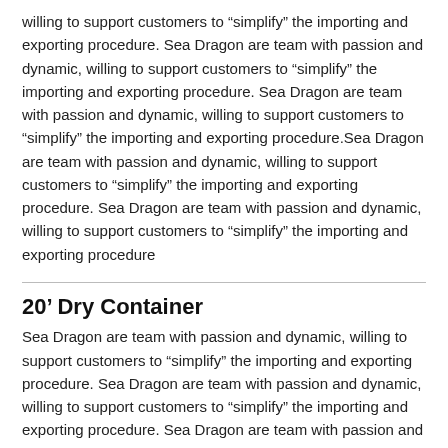willing to support customers to “simplify” the importing and exporting procedure. Sea Dragon are team with passion and dynamic, willing to support customers to “simplify” the importing and exporting procedure. Sea Dragon are team with passion and dynamic, willing to support customers to “simplify” the importing and exporting procedure.Sea Dragon are team with passion and dynamic, willing to support customers to “simplify” the importing and exporting procedure. Sea Dragon are team with passion and dynamic, willing to support customers to “simplify” the importing and exporting procedure
20’ Dry Container
Sea Dragon are team with passion and dynamic, willing to support customers to “simplify” the importing and exporting procedure. Sea Dragon are team with passion and dynamic, willing to support customers to “simplify” the importing and exporting procedure. Sea Dragon are team with passion and dynamic, willing to support customers to “simplify” the importing